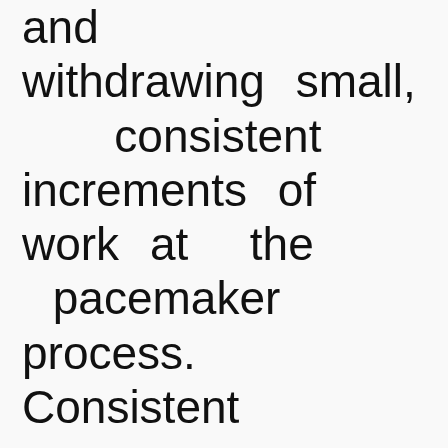and withdrawing small, consistent increments of work at the pacemaker process. Consistent increment of work,